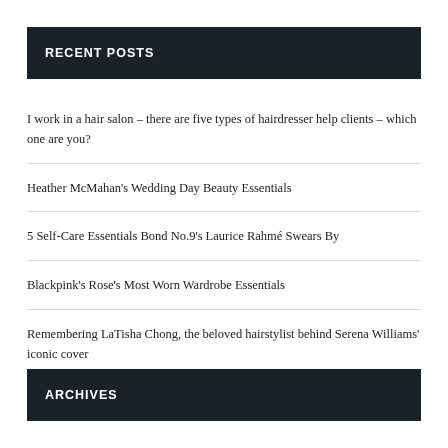RECENT POSTS
I work in a hair salon – there are five types of hairdresser help clients – which one are you?
Heather McMahan's Wedding Day Beauty Essentials
5 Self-Care Essentials Bond No.9's Laurice Rahmé Swears By
Blackpink's Rose's Most Worn Wardrobe Essentials
Remembering LaTisha Chong, the beloved hairstylist behind Serena Williams' iconic cover
ARCHIVES